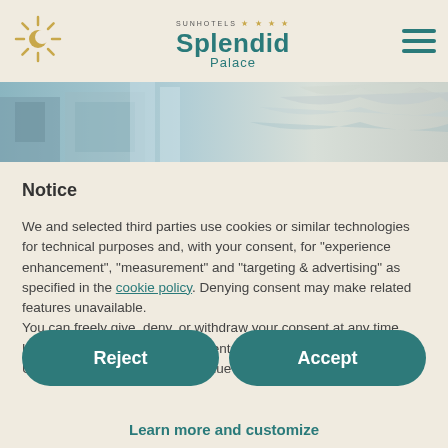[Figure (logo): Sun Hotels sun logo (golden sunburst icon) on the left side of the header]
[Figure (logo): Splendid Palace hotel branding in the center: SUNHOTELS with 4 stars, Splendid in teal bold, Palace below]
[Figure (illustration): Hamburger menu icon (three teal horizontal bars) on the right side of the header]
[Figure (photo): Hero image strip showing a hotel room/interior with teal and grey tones]
Notice
We and selected third parties use cookies or similar technologies for technical purposes and, with your consent, for “experience enhancement”, “measurement” and “targeting & advertising” as specified in the cookie policy. Denying consent may make related features unavailable.
You can freely give, deny, or withdraw your consent at any time. Use the “Accept” button to consent to the use of such technologies. Use the “Reject” button to continue without accepting.
Reject
Accept
Learn more and customize